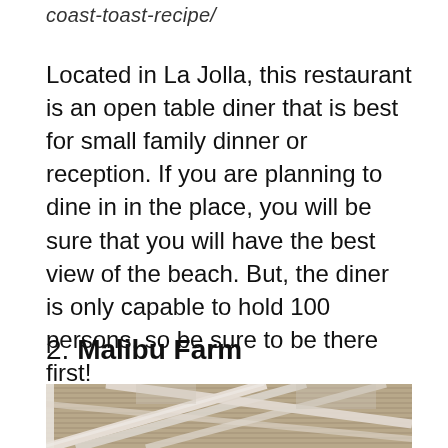coast-toast-recipe/
Located in La Jolla, this restaurant is an open table diner that is best for small family dinner or reception. If you are planning to dine in in the place, you will be sure that you will have the best view of the beach. But, the diner is only capable to hold 100 persons, so be sure to be there first!
2. Malibu Farm
[Figure (photo): Exterior photo of a pergola structure with white wooden beams and woven fabric/reed panels overhead, photographed from below looking up at an angle.]